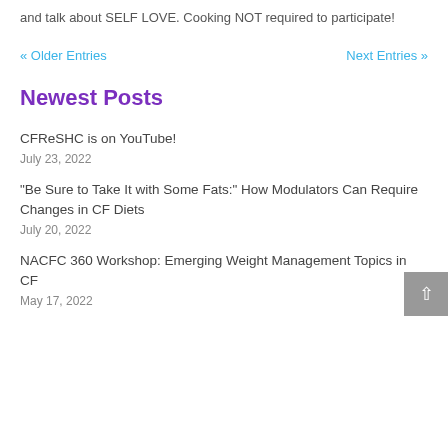and talk about SELF LOVE. Cooking NOT required to participate!
« Older Entries
Next Entries »
Newest Posts
CFReSHC is on YouTube!
July 23, 2022
“Be Sure to Take It with Some Fats:” How Modulators Can Require Changes in CF Diets
July 20, 2022
NACFC 360 Workshop: Emerging Weight Management Topics in CF
May 17, 2022